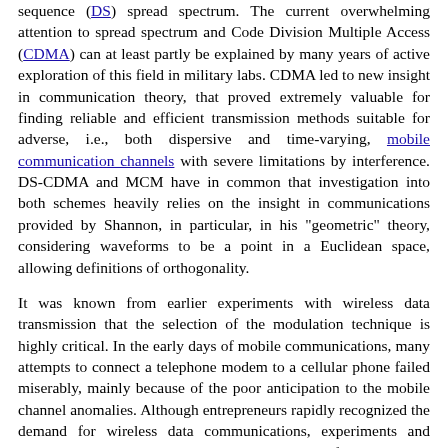sequence (DS) spread spectrum. The current overwhelming attention to spread spectrum and Code Division Multiple Access (CDMA) can at least partly be explained by many years of active exploration of this field in military labs. CDMA led to new insight in communication theory, that proved extremely valuable for finding reliable and efficient transmission methods suitable for adverse, i.e., both dispersive and time-varying, mobile communication channels with severe limitations by interference. DS-CDMA and MCM have in common that investigation into both schemes heavily relies on the insight in communications provided by Shannon, in particular, in his "geometric" theory, considering waveforms to be a point in a Euclidean space, allowing definitions of orthogonality.
It was known from earlier experiments with wireless data transmission that the selection of the modulation technique is highly critical. In the early days of mobile communications, many attempts to connect a telephone modem to a cellular phone failed miserably, mainly because of the poor anticipation to the mobile channel anomalies. Although entrepreneurs rapidly recognized the demand for wireless data communications, experiments and product tests rapidly revealed that the mobile fading channel needed specific solutions, for modulation scheme, bit rates and the packet length. Among the many proposals, Multi- Carrier Modulation appeared one of the most elegant solutions for wireless digital communications high and date Among The introduction of a and